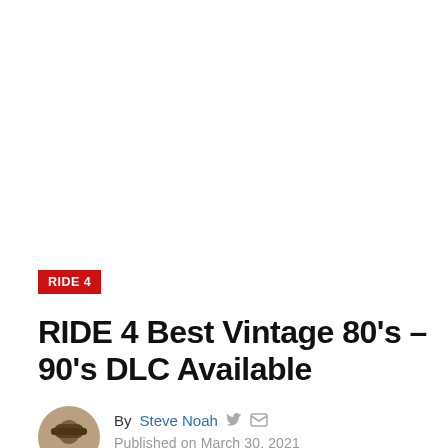[Figure (photo): Large hero image area (white/blank) occupying the top portion of the page]
RIDE 4
RIDE 4 Best Vintage 80's – 90's DLC Available
By Steve Noah  [twitter icon] [email icon]  Published on March 30, 2021